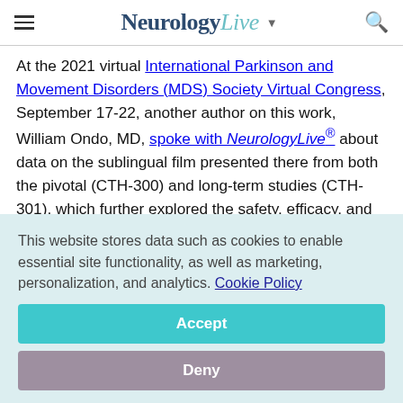NeurologyLive
At the 2021 virtual International Parkinson and Movement Disorders (MDS) Society Virtual Congress, September 17-22, another author on this work, William Ondo, MD, spoke with NeurologyLive® about data on the sublingual film presented there from both the pivotal (CTH-300) and long-term studies (CTH-301), which further explored the safety, efficacy, and tolerability of the treatment. According to Ondo, who is the director of the Movements Disorders Clinic at Houston Methodist Neurological Institute, one of...
This website stores data such as cookies to enable essential site functionality, as well as marketing, personalization, and analytics. Cookie Policy
Accept
Deny